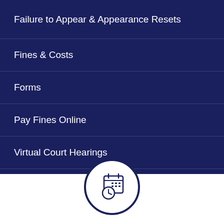Failure to Appear & Appearance Resets
Fines & Costs
Forms
Pay Fines Online
Virtual Court Hearings
Warrants
Schedule of Fees
[Figure (illustration): Circular icon with a calendar and clock symbol, dark navy blue outline on white background]